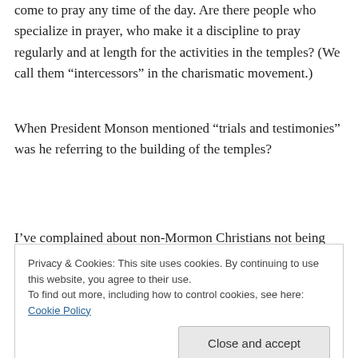come to pray any time of the day. Are there people who specialize in prayer, who make it a discipline to pray regularly and at length for the activities in the temples? (We call them “intercessors” in the charismatic movement.)
When President Monson mentioned “trials and testimonies” was he referring to the building of the temples?
I’ve complained about non-Mormon Christians not being allowed in the temples, but on the
Privacy & Cookies: This site uses cookies. By continuing to use this website, you agree to their use.
To find out more, including how to control cookies, see here: Cookie Policy
Close and accept